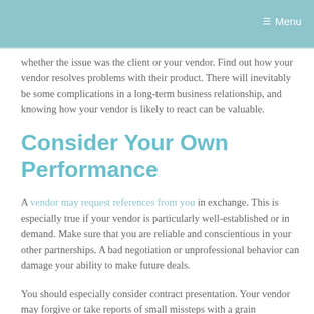Menu
whether the issue was the client or your vendor. Find out how your vendor resolves problems with their product. There will inevitably be some complications in a long-term business relationship, and knowing how your vendor is likely to react can be valuable.
Consider Your Own Performance
A vendor may request references from you in exchange. This is especially true if your vendor is particularly well-established or in demand. Make sure that you are reliable and conscientious in your other partnerships. A bad negotiation or unprofessional behavior can damage your ability to make future deals.
You should especially consider contract presentation. Your vendor may forgive or take reports of small missteps with a grain of salt. But references are not always easy to come by.